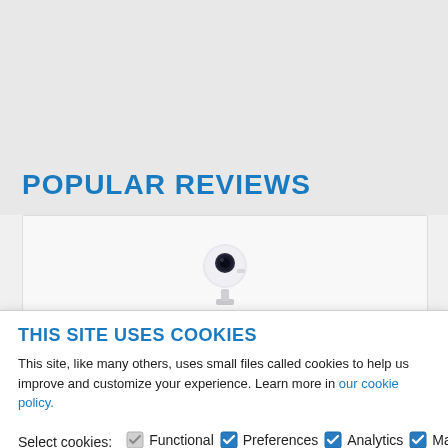POPULAR REVIEWS
[Figure (photo): Samsung The Freestyle projector product photo on white background]
Samsung The Freestyle review: A beautiful, smart Wi-Fi
THIS SITE USES COOKIES
This site, like many others, uses small files called cookies to help us improve and customize your experience. Learn more in our cookie policy.
Select cookies: Functional (unchecked), Preferences (checked), Analytics (checked), Marketing (checked)